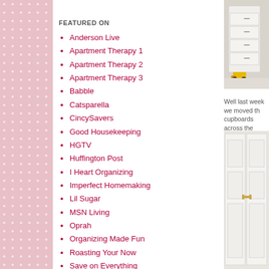FEATURED ON
Anderson Live
Apartment Therapy 1
Apartment Therapy 2
Apartment Therapy 3
Babble
Catsparella
CincySavers
Good Housekeeping
HGTV
Huffington Post
I Heart Organizing
Imperfect Homemaking
Lil Sugar
MSN Living
Oprah
Organizing Made Fun
Roasting Your Now
Save on Everything
The Daily Buzz
The Nest
[Figure (photo): White chest of drawers with yellow toy truck on floor beside it]
Well last week we moved th cupboards across the chimn
[Figure (photo): White double doors with gold handles]